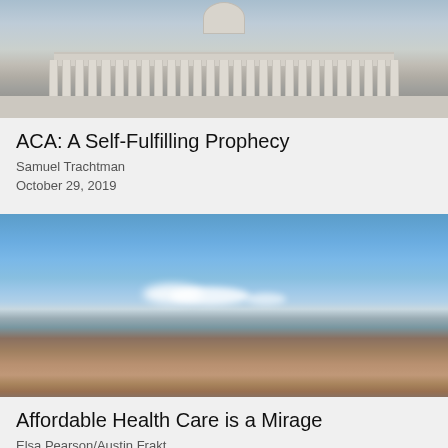[Figure (photo): Photograph of a government building with columns and pediment, likely the US Capitol or similar neoclassical building, viewed from the front]
ACA: A Self-Fulfilling Prophecy
Samuel Trachtman
October 29, 2019
[Figure (photo): Photograph of a desert landscape with mountains in the background under a blue sky with scattered clouds, dry flat terrain in the foreground]
Affordable Health Care is a Mirage
Elsa Pearson/Austin Frakt